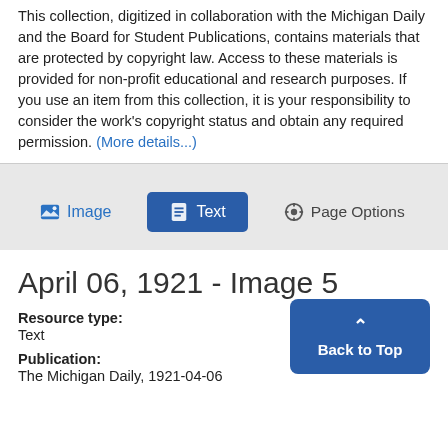This collection, digitized in collaboration with the Michigan Daily and the Board for Student Publications, contains materials that are protected by copyright law. Access to these materials is provided for non-profit educational and research purposes. If you use an item from this collection, it is your responsibility to consider the work's copyright status and obtain any required permission. (More details...)
[Figure (screenshot): Tab bar with 'Image', 'Text' (active/highlighted in blue), and 'Page Options' buttons on a light grey background]
April 06, 1921 - Image 5
Resource type:
Text
Publication:
The Michigan Daily, 1921-04-06